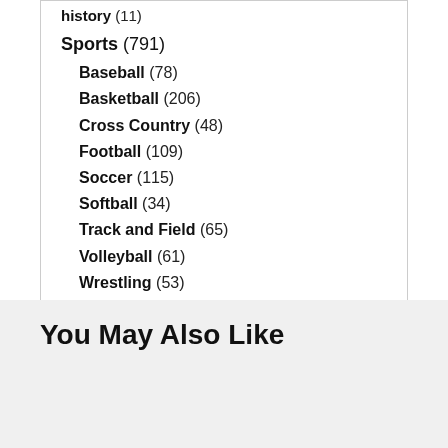history (11)
Sports (791)
Baseball (78)
Basketball (206)
Cross Country (48)
Football (109)
Soccer (115)
Softball (34)
Track and Field (65)
Volleyball (61)
Wrestling (53)
You May Also Like
Mississippi Man Charged In Murder At